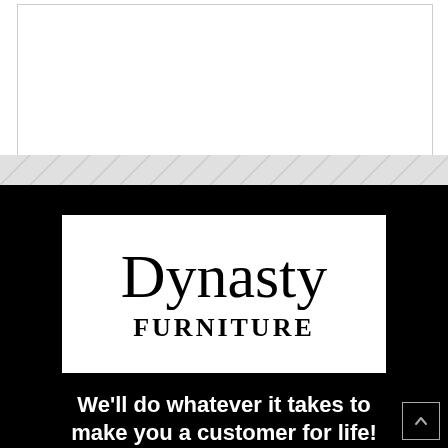[Figure (logo): Dynasty Furniture logo — white rectangle with 'Dynasty' in large serif font and 'FURNITURE' in bold spaced capitals below, set against a black background]
We'll do whatever it takes to make you a customer for life!